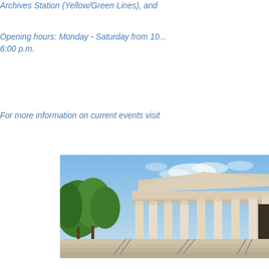Archives Station (Yellow/Green Lines), and
Opening hours: Monday - Saturday from 10 ... 6:00 p.m.
For more information on current events visit
[Figure (photo): Exterior photograph of a neoclassical building with tall white columns and wide stone steps, surrounded by green trees under a blue sky — resembling a government museum or memorial in Washington D.C.]